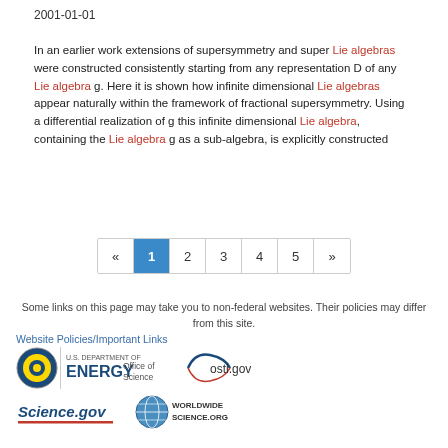2001-01-01
In an earlier work extensions of supersymmetry and super Lie algebras were constructed consistently starting from any representation D of any Lie algebra g. Here it is shown how infinite dimensional Lie algebras appear naturally within the framework of fractional supersymmetry. Using a differential realization of g this infinite dimensional Lie algebra, containing the Lie algebra g as a sub-algebra, is explicitly constructed
[Figure (other): Pagination control showing pages 1-5 with previous and next arrows, page 1 highlighted in blue]
Some links on this page may take you to non-federal websites. Their policies may differ from this site.
Website Policies/Important Links
[Figure (logo): U.S. Department of Energy / Office of Science logo]
[Figure (logo): osti.gov logo]
[Figure (logo): Science.gov logo]
[Figure (logo): WorldWideScience.org logo]